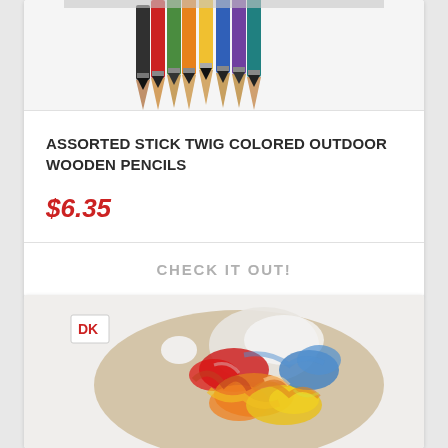[Figure (photo): Top portion of colored pencils bundled together, showing tips pointing upward, partially cropped at top of card]
ASSORTED STICK TWIG COLORED OUTDOOR WOODEN PENCILS
$6.35
CHECK IT OUT!
[Figure (photo): Artist's paint palette covered in colorful oil paints (red, orange, yellow, blue, white), with DK publisher logo in upper left corner]